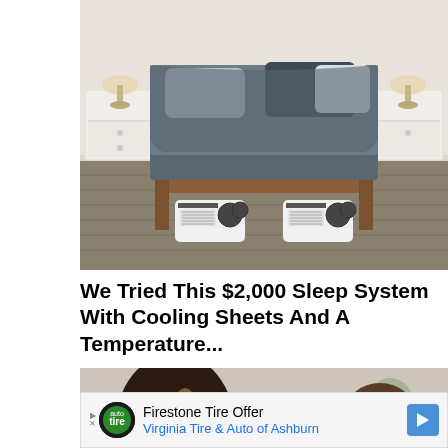[Figure (photo): A bed with grey sheets on a wooden frame, with two white cooling/heating units placed underneath the bed on a grey floor. White nightstands with lamps on either side.]
We Tried This $2,000 Sleep System With Cooling Sheets And A Temperature...
[Figure (photo): Two women facing each other in conversation, one with dark hair facing camera, one with brown hair in a bun wearing a beige headband facing away.]
Firestone Tire Offer
Virginia Tire & Auto of Ashburn